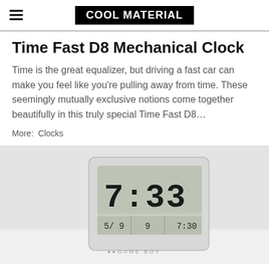COOL MATERIAL
Time Fast D8 Mechanical Clock
Time is the great equalizer, but driving a fast car can make you feel like you’re pulling away from time. These seemingly mutually exclusive notions come together beautifully in this truly special Time Fast D8…
More:  Clocks
[Figure (photo): Photo of a small rectangular digital clock showing 7:33, with a light gray bezel, placed against a white background. Text at the bottom reads 'GAME BOY' in small gray letters.]